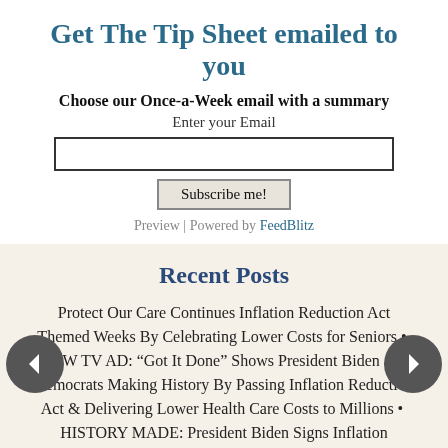Get The Tip Sheet emailed to you
Choose our Once-a-Week email with a summary
Enter your Email
Subscribe me!
Preview | Powered by FeedBlitz
Recent Posts
Protect Our Care Continues Inflation Reduction Act Themed Weeks By Celebrating Lower Costs for Seniors
NEW TV AD: “Got It Done” Shows President Biden and Democrats Making History By Passing Inflation Reduction Act & Delivering Lower Health Care Costs to Millions
HISTORY MADE: President Biden Signs Inflation Reduction Act Into Law, Delivering Lower Health Care Costs to the American People
The Inflation Reduction Act Delivers Lower Health Care Costs for Millions